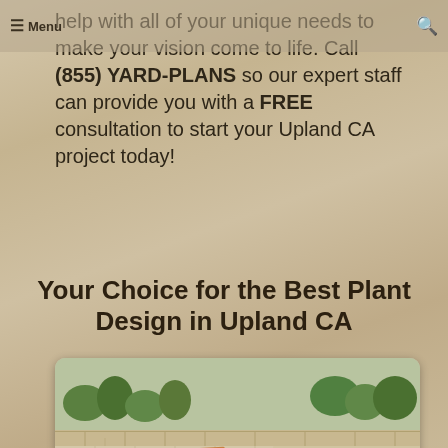help with all of your unique needs to make your vision come to life. Call (855) YARD-PLANS so our expert staff can provide you with a FREE consultation to start your Upland CA project today!
Your Choice for the Best Plant Design in Upland CA
[Figure (photo): Outdoor pool area with lounge chairs, hot tub, stone patio, and landscaping with trees and neighborhood in the background]